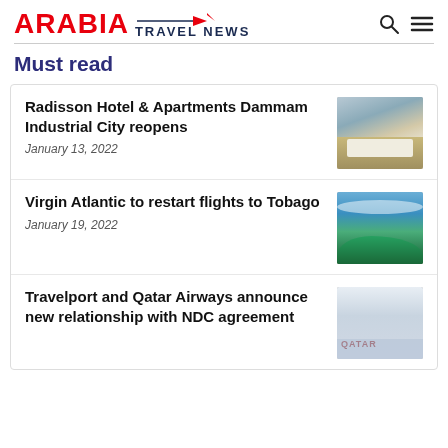ARABIA TRAVEL NEWS
Must read
Radisson Hotel & Apartments Dammam Industrial City reopens
January 13, 2022
[Figure (photo): Hotel room with bed and wall art]
Virgin Atlantic to restart flights to Tobago
January 19, 2022
[Figure (photo): Aerial view of Tobago coastline with green hills and blue sea]
Travelport and Qatar Airways announce new relationship with NDC agreement
[Figure (photo): Qatar Airways aircraft with Qatar branding visible]